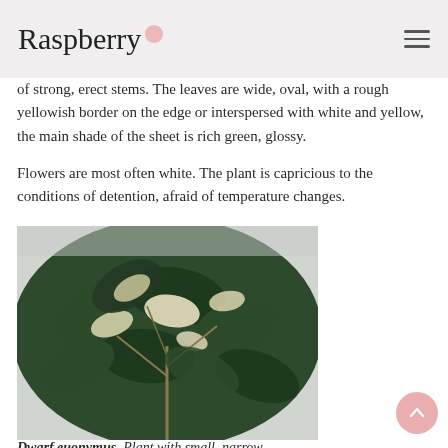Raspberry
of strong, erect stems. The leaves are wide, oval, with a rough yellowish border on the edge or interspersed with white and yellow, the main shade of the sheet is rich green, glossy.

Flowers are most often white. The plant is capricious to the conditions of detention, afraid of temperature changes.
[Figure (photo): Close-up photograph of dwarf euonymus plant leaves showing dark green leaves with white/cream variegation against a light background]
Dwarf euonymus. Plant with small, narrow...